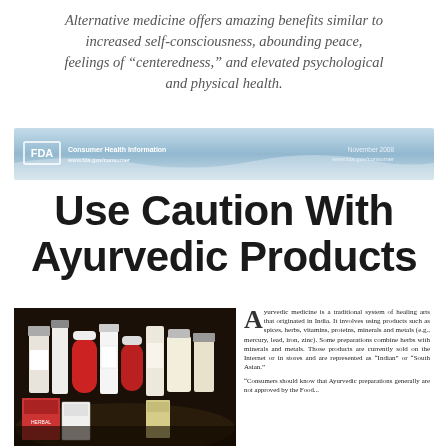Alternative medicine offers amazing benefits similar to increased self-consciousness, abounding peace, feelings of "centeredness," and elevated psychological and physical health.
[Figure (other): FDA Consumer Health Information banner with blue wave design and FDA logo]
Use Caution With Ayurvedic Products
[Figure (photo): Photo of multiple bottles and boxes of Ayurvedic supplement products arranged on a dark background]
Ayurvedic medicine is a traditional system of healing arts that originated in India. It involves using products such as spices, herbs, vitamins, proteins, minerals and metals (e.g., mercury, lead, iron, zinc). Some preparations combine herbs with minerals and metals. Those products are currently sold on the Internet or in stores and are represented as "Indian" or "South Asian."
"Consumers should know that Ayurvedic preparations generally are not approved by the Food..."